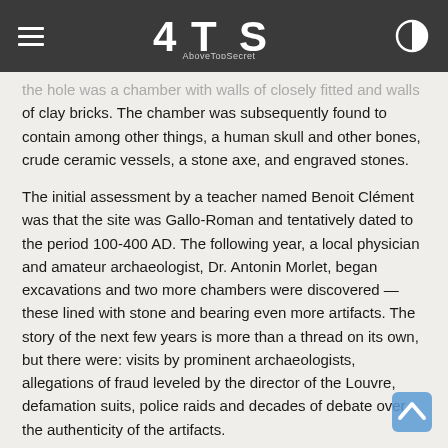AboveTopSecret
the hole was a chamber with walls of closely fitted and walls of clay bricks. The chamber was subsequently found to contain among other things, a human skull and other bones, crude ceramic vessels, a stone axe, and engraved stones.
The initial assessment by a teacher named Benoit Clément was that the site was Gallo-Roman and tentatively dated to the period 100-400 AD. The following year, a local physician and amateur archaeologist, Dr. Antonin Morlet, began excavations and two more chambers were discovered — these lined with stone and bearing even more artifacts. The story of the next few years is more than a thread on its own, but there were: visits by prominent archaeologists, allegations of fraud leveled by the director of the Louvre, defamation suits, police raids and decades of debate over the authenticity of the artifacts.
An in-depth treatment of these events is available at Glozel.net — I found it fascinating and well worth reading. All told, over 3,000 artifacts were discovered and despite the controversy over the discovery of the site and its earliest excavations, scientific analysis has proven the authenticity of